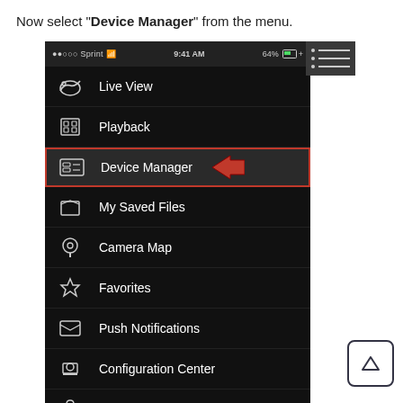Now select "Device Manager" from the menu.
[Figure (screenshot): iPhone app screenshot showing a dark-themed navigation menu with items: Live View, Playback, Device Manager (highlighted with red border and red arrow pointing left), My Saved Files, Camera Map, Favorites, Push Notifications, Configuration Center, App Passcode, Help. Status bar shows Sprint carrier, 9:41 AM time, 64% battery.]